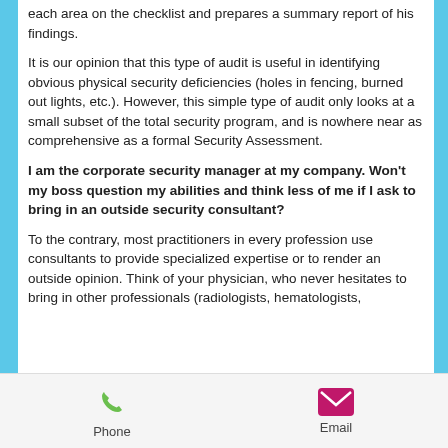each area on the checklist and prepares a summary report of his findings.
It is our opinion that this type of audit is useful in identifying obvious physical security deficiencies (holes in fencing, burned out lights, etc.). However, this simple type of audit only looks at a small subset of the total security program, and is nowhere near as comprehensive as a formal Security Assessment.
I am the corporate security manager at my company. Won't my boss question my abilities and think less of me if I ask to bring in an outside security consultant?
To the contrary, most practitioners in every profession use consultants to provide specialized expertise or to render an outside opinion. Think of your physician, who never hesitates to bring in other professionals (radiologists, hematologists,
Phone   Email